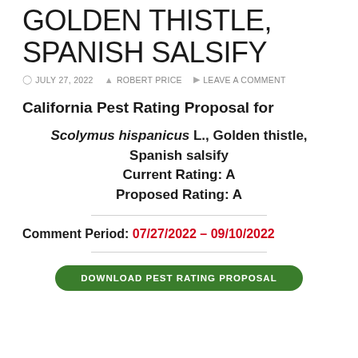GOLDEN THISTLE, SPANISH SALSIFY
JULY 27, 2022  ROBERT PRICE  LEAVE A COMMENT
California Pest Rating Proposal for
Scolymus hispanicus L., Golden thistle, Spanish salsify
Current Rating: A
Proposed Rating: A
Comment Period: 07/27/2022 – 09/10/2022
DOWNLOAD PEST RATING PROPOSAL